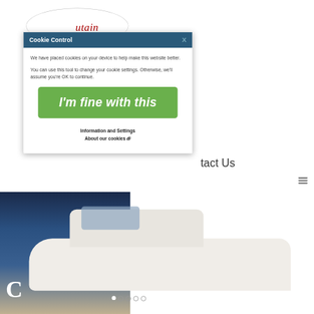[Figure (screenshot): Website background showing an oval logo with italic red text reading 'utain', navigation elements including 'tact Us' text and hamburger menu icon, and a photo of a white motorboat on water at the bottom with carousel navigation dots and a 'C' logo.]
Cookie Control
We have placed cookies on your device to help make this website better.
You can use this tool to change your cookie settings. Otherwise, we'll assume you're OK to continue.
I'm fine with this
Information and Settings
About our cookies ↗